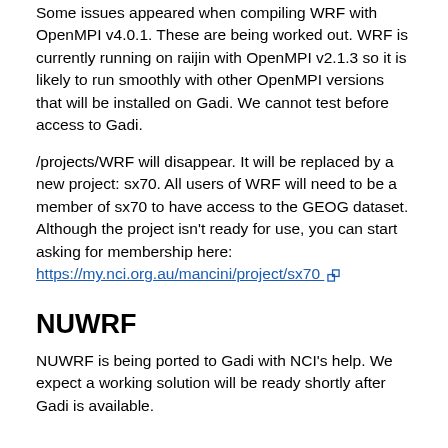Some issues appeared when compiling WRF with OpenMPI v4.0.1. These are being worked out. WRF is currently running on raijin with OpenMPI v2.1.3 so it is likely to run smoothly with other OpenMPI versions that will be installed on Gadi. We cannot test before access to Gadi.
/projects/WRF will disappear. It will be replaced by a new project: sx70. All users of WRF will need to be a member of sx70 to have access to the GEOG dataset. Although the project isn't ready for use, you can start asking for membership here: https://my.nci.org.au/mancini/project/sx70
NUWRF
NUWRF is being ported to Gadi with NCI's help. We expect a working solution will be ready shortly after Gadi is available.
UM with UMUI (e.g. ACCESS 1.X AMIP